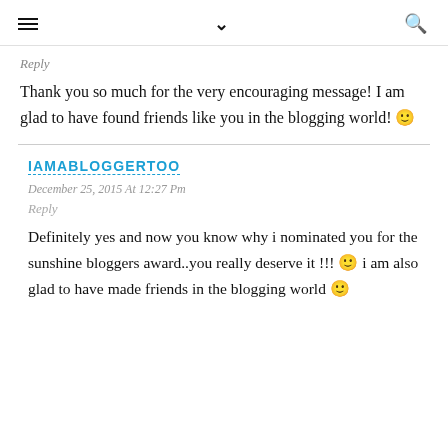≡  ∨  🔍
Reply
Thank you so much for the very encouraging message! I am glad to have found friends like you in the blogging world! 🙂
IAMABLOGGERTOO
December 25, 2015 At 12:27 Pm
Reply
Definitely yes and now you know why i nominated you for the sunshine bloggers award..you really deserve it !!! 🙂 i am also glad to have made friends in the blogging world 🙂